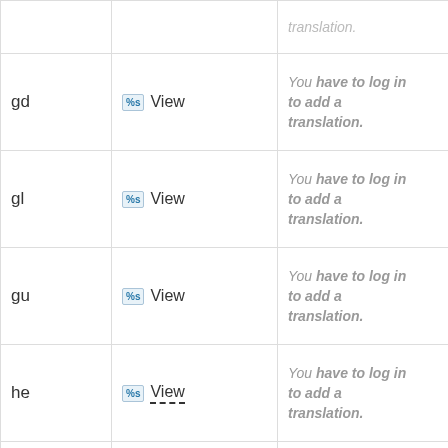| Language | Action | Translation |  |
| --- | --- | --- | --- |
|  |  | translation. |  |
| gd | %s View | You have to log in to add a translation. | Details |
| gl | %s View | You have to log in to add a translation. | Details |
| gu | %s View | You have to log in to add a translation. | Details |
| he | %s View | You have to log in to add a translation. | Details |
| hi | %s View | You have to log in to add a translation. | Details |
|  |  | You have to log in |  |